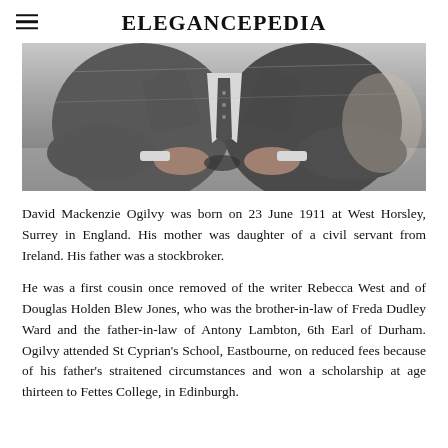ELEGANCEPEDIA
[Figure (photo): Black and white photograph of a man in a suit, seated, with hands resting on a surface, partial torso/hands view.]
David Mackenzie Ogilvy was born on 23 June 1911 at West Horsley, Surrey in England. His mother was daughter of a civil servant from Ireland. His father was a stockbroker.
He was a first cousin once removed of the writer Rebecca West and of Douglas Holden Blew Jones, who was the brother-in-law of Freda Dudley Ward and the father-in-law of Antony Lambton, 6th Earl of Durham. Ogilvy attended St Cyprian's School, Eastbourne, on reduced fees because of his father's straitened circumstances and won a scholarship at age thirteen to Fettes College, in Edinburgh.